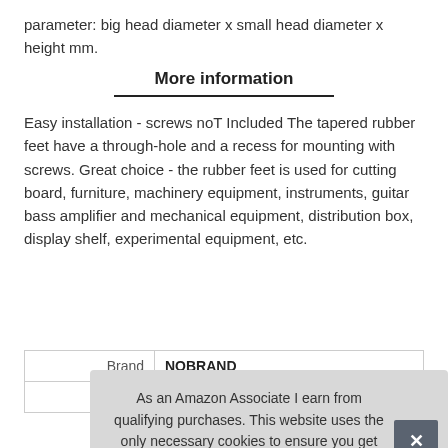parameter: big head diameter x small head diameter x height mm.
More information
Easy installation - screws noT Included The tapered rubber feet have a through-hole and a recess for mounting with screws. Great choice - the rubber feet is used for cutting board, furniture, machinery equipment, instruments, guitar bass amplifier and mechanical equipment, distribution box, display shelf, experimental equipment, etc.
| Brand | NOBRAND |
| --- | --- |
| Ma |  |
As an Amazon Associate I earn from qualifying purchases. This website uses the only necessary cookies to ensure you get the best experience on our website. More information